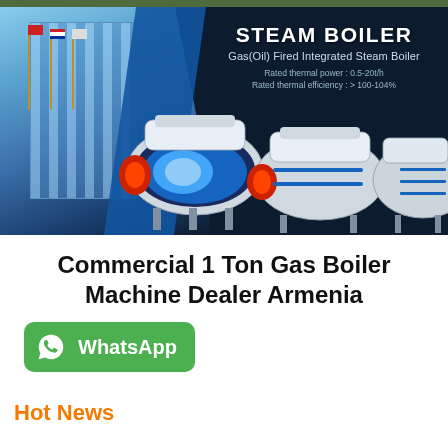[Figure (photo): Steam boiler product banner with dark navy background showing industrial boiler units and building exterior with flagpoles. Text overlay reads 'STEAM BOILER', 'Gas(Oil) Fired Integrated Steam Boiler', rated thermal power 0.5-20t/h, rated thermal efficiency >100-104%.]
Commercial 1 Ton Gas Boiler Machine Dealer Armenia
[Figure (logo): WhatsApp button: green rounded rectangle with WhatsApp phone icon and text 'WhatsApp']
Hot News